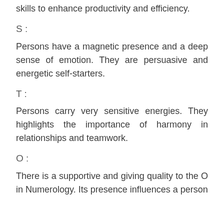skills to enhance productivity and efficiency.
S :
Persons have a magnetic presence and a deep sense of emotion. They are persuasive and energetic self-starters.
T :
Persons carry very sensitive energies. They highlights the importance of harmony in relationships and teamwork.
O :
There is a supportive and giving quality to the O in Numerology. Its presence influences a person